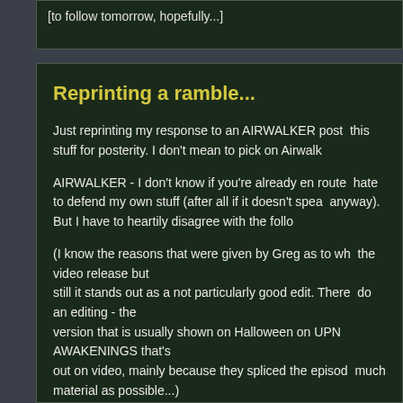[to follow tomorrow, hopefully...]
Reprinting a ramble...
Just reprinting my response to an AIRWALKER post... this stuff for posterity. I don't mean to pick on Airwalk...
AIRWALKER - I don't know if you're already en route... hate to defend my own stuff (after all if it doesn't spea... anyway). But I have to heartily disagree with the follo...
(I know the reasons that were given by Greg as to wh... the video release but still it stands out as a not particularly good edit. There... do an editing - the version that is usually shown on Halloween on UPN ... AWAKENINGS that's out on video, mainly because they spliced the episod... much material as possible...)
To the contrary, AIRWALKER, I believe the version th...